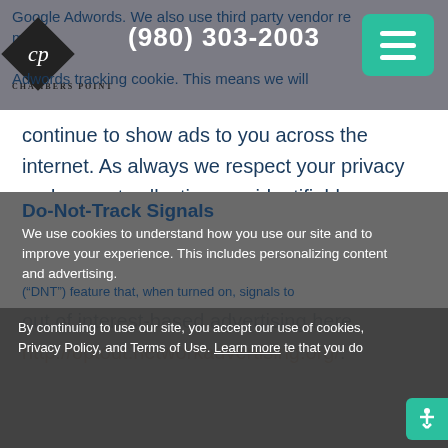Google Adwords. We also use third party vendor re marketing tracking cookies, including the Adwords tracking cookie. This means we will
continue to show ads to you across the internet. As always we respect your privacy and are not collecting any identifiable information through the use of Google's or any other third party remarketing system. If you don't want to see our ads, you can opt-out of interest-based advertising here http://optout.networkadvertising.org/.
Do-Not-Track Signals
We use cookies to understand how you use our site and to improve your experience. This includes personalizing content and advertising. ("DNT") feature that, when turned on, signals to By continuing to use our site, you accept our use of cookies, Privacy Policy, and Terms of Use. Learn more te that you do